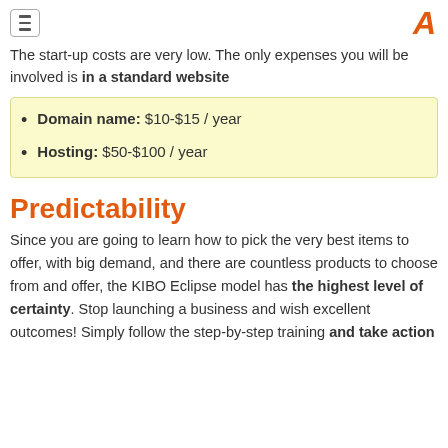[hamburger menu] [A logo]
The start-up costs are very low. The only expenses you will be involved is in a standard website
Domain name: $10-$15 / year
Hosting: $50-$100 / year
Predictability
Since you are going to learn how to pick the very best items to offer, with big demand, and there are countless products to choose from and offer, the KIBO Eclipse model has the highest level of certainty. Stop launching a business and wish excellent outcomes! Simply follow the step-by-step training and take action